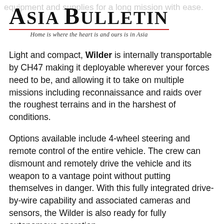equipment and supplies for a long mission with ease.
Asia Bulletin
Home is where the heart is and ours is in Asia
Light and compact, Wilder is internally transportable by CH47 making it deployable wherever your forces need to be, and allowing it to take on multiple missions including reconnaissance and raids over the roughest terrains and in the harshest of conditions.
Options available include 4-wheel steering and remote control of the entire vehicle. The crew can dismount and remotely drive the vehicle and its weapon to a vantage point without putting themselves in danger. With this fully integrated drive-by-wire capability and associated cameras and sensors, the Wilder is also ready for fully autonomous operation.
Wilder can also be paired with Plasan's ATeMM to